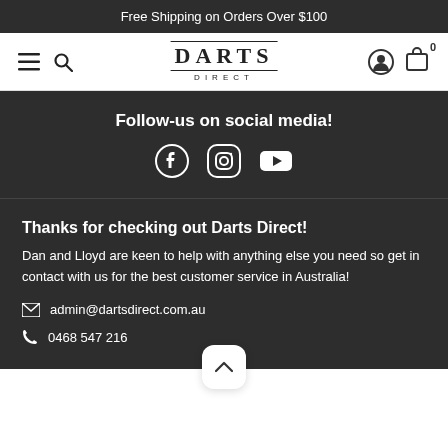Free Shipping on Orders Over $100
[Figure (screenshot): Navigation bar with hamburger menu, search icon, Darts Direct logo, account icon, and cart (0)]
Follow-us on social media!
[Figure (illustration): Social media icons: Facebook, Instagram, YouTube]
Thanks for checking out Darts Direct!
Dan and Lloyd are keen to help with anything else you need so get in contact with us for the best customer service in Australia!
admin@dartsdirect.com.au
0468 547 216